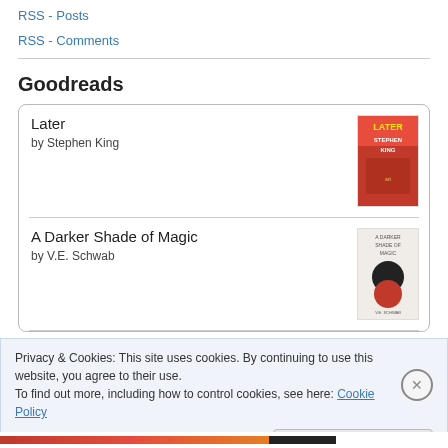RSS - Posts
RSS - Comments
Goodreads
Later
by Stephen King
A Darker Shade of Magic
by V.E. Schwab
Privacy & Cookies: This site uses cookies. By continuing to use this website, you agree to their use.
To find out more, including how to control cookies, see here: Cookie Policy
Close and accept